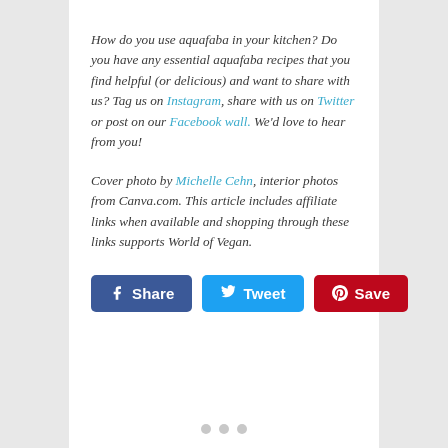How do you use aquafaba in your kitchen? Do you have any essential aquafaba recipes that you find helpful (or delicious) and want to share with us? Tag us on Instagram, share with us on Twitter or post on our Facebook wall. We'd love to hear from you!
Cover photo by Michelle Cehn, interior photos from Canva.com. This article includes affiliate links when available and shopping through these links supports World of Vegan.
[Figure (other): Social sharing buttons: Facebook Share (blue), Twitter Tweet (light blue), Pinterest Save (red)]